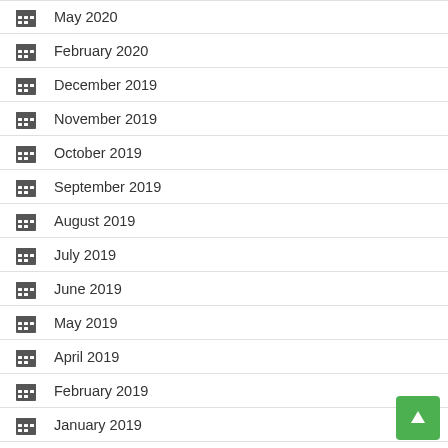May 2020
February 2020
December 2019
November 2019
October 2019
September 2019
August 2019
July 2019
June 2019
May 2019
April 2019
February 2019
January 2019